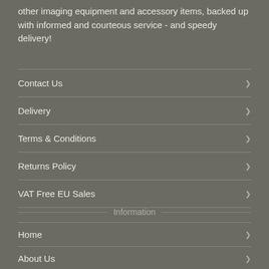other imaging equipment and accessory items, backed up with informed and courteous service - and speedy delivery!
Contact Us
Delivery
Terms & Conditions
Returns Policy
VAT Free EU Sales
Information
Home
About Us
Payment Methods
Health and Safety
Sitemap